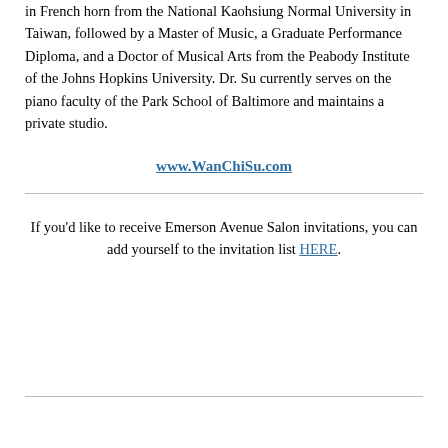in French horn from the National Kaohsiung Normal University in Taiwan, followed by a Master of Music, a Graduate Performance Diploma, and a Doctor of Musical Arts from the Peabody Institute of the Johns Hopkins University. Dr. Su currently serves on the piano faculty of the Park School of Baltimore and maintains a private studio.
www.WanChiSu.com
If you'd like to receive Emerson Avenue Salon invitations, you can add yourself to the invitation list HERE.